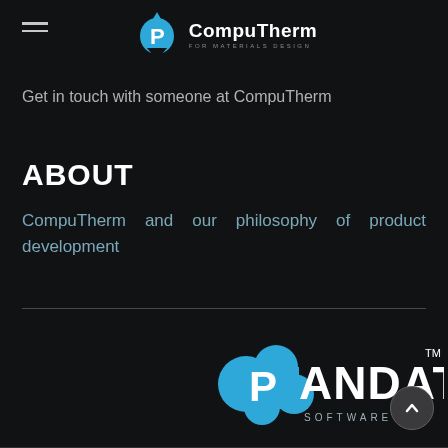[Figure (logo): CompuTherm logo with blue teardrop/mountain icon, bold P letter, CompuTherm text and 'FOR MATERIALS DESIGN' tagline]
Get in touch with someone at CompuTherm
ABOUT
CompuTherm and our philosophy of product development
[Figure (logo): Pandat Software logo with blue cloud/molecular icon and PANDAT text with SOFTWARE below, partially obscured by scroll-up button]